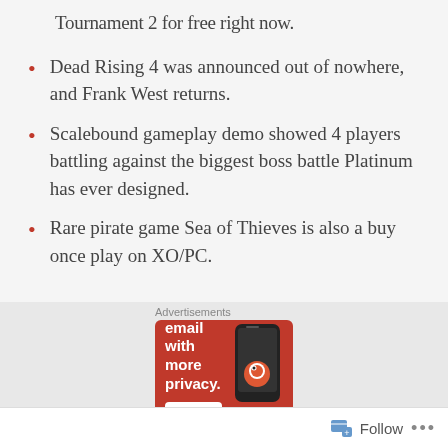Tournament 2 for free right now.
Dead Rising 4 was announced out of nowhere, and Frank West returns.
Scalebound gameplay demo showed 4 players battling against the biggest boss battle Platinum has ever designed.
Rare pirate game Sea of Thieves is also a buy once play on XO/PC.
[Figure (screenshot): DuckDuckGo advertisement banner with orange background: 'Search, browse, and email with more privacy. All in One Free App.' with phone graphic showing DuckDuckGo app]
Follow ...